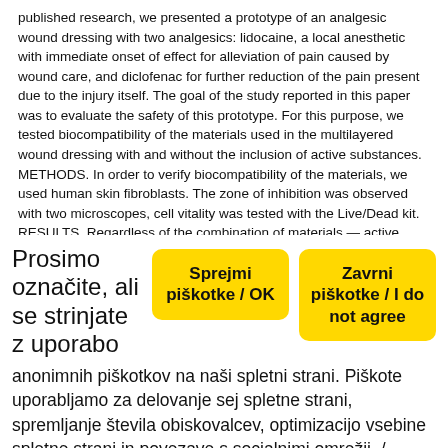published research, we presented a prototype of an analgesic wound dressing with two analgesics: lidocaine, a local anesthetic with immediate onset of effect for alleviation of pain caused by wound care, and diclofenac for further reduction of the pain present due to the injury itself. The goal of the study reported in this paper was to evaluate the safety of this prototype. For this purpose, we tested biocompatibility of the materials used in the multilayered wound dressing with and without the inclusion of active substances. METHODS. In order to verify biocompatibility of the materials, we used human skin fibroblasts. The zone of inhibition was observed with two microscopes, cell vitality was tested with the Live/Dead kit. RESULTS. Regardless of the combination of materials — active substance, we did not discover any toxic effects on the cells. In the case of all three used
Prosimo označite, ali se strinjate z uporabo anonimnih piškotkov na naši spletni strani. Piškote uporabljamo za delovanje sej spletne strani, spremljanje števila obiskovalcev, optimizacijo vsebine spletne strani in povezave s socialnimi omrežji. / Please select, if you agree with cookie use on our website. We use anonymous cookies to enable website sessions, count our visitors, optimize the website content and to connect with social networks. / More affirmation...
Sprejmi piškotke / OK
Zavrni piškotke / I do not agree